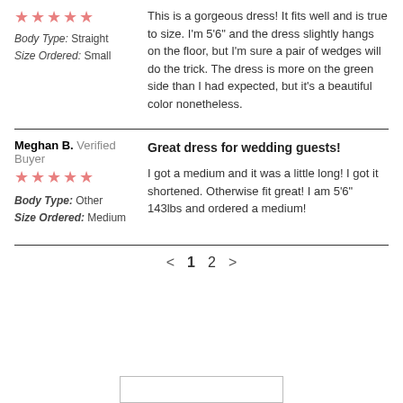★★★★★
Body Type: Straight
Size Ordered: Small
This is a gorgeous dress! It fits well and is true to size. I'm 5'6" and the dress slightly hangs on the floor, but I'm sure a pair of wedges will do the trick. The dress is more on the green side than I had expected, but it's a beautiful color nonetheless.
Meghan B. Verified Buyer
★★★★★
Body Type: Other
Size Ordered: Medium
Great dress for wedding guests!
I got a medium and it was a little long! I got it shortened. Otherwise fit great! I am 5'6" 143lbs and ordered a medium!
< 1 2 >